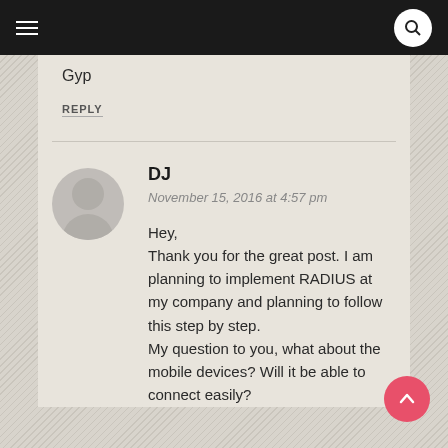Navigation bar with hamburger menu and search button
Gyp
REPLY
DJ
November 15, 2016 at 4:57 pm
Hey,
Thank you for the great post. I am planning to implement RADIUS at my company and planning to follow this step by step.
My question to you, what about the mobile devices? Will it be able to connect easily?